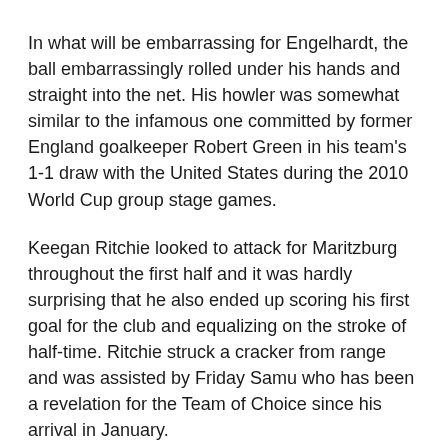In what will be embarrassing for Engelhardt, the ball embarrassingly rolled under his hands and straight into the net. His howler was somewhat similar to the infamous one committed by former England goalkeeper Robert Green in his team's 1-1 draw with the United States during the 2010 World Cup group stage games.
Keegan Ritchie looked to attack for Maritzburg throughout the first half and it was hardly surprising that he also ended up scoring his first goal for the club and equalizing on the stroke of half-time. Ritchie struck a cracker from range and was assisted by Friday Samu who has been a revelation for the Team of Choice since his arrival in January.